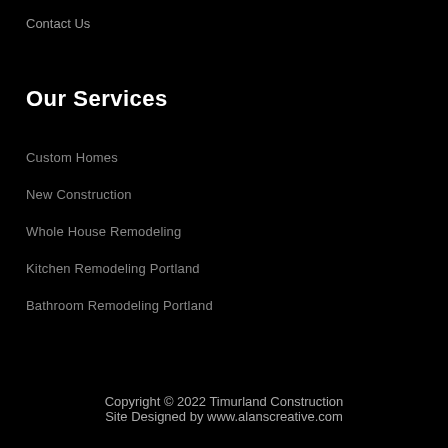Contact Us
Our Services
Custom Homes
New Construction
Whole House Remodeling
Kitchen Remodeling Portland
Bathroom Remodeling Portland
Copyright © 2022 Timurland Construction
Site Designed by www.alanscreative.com